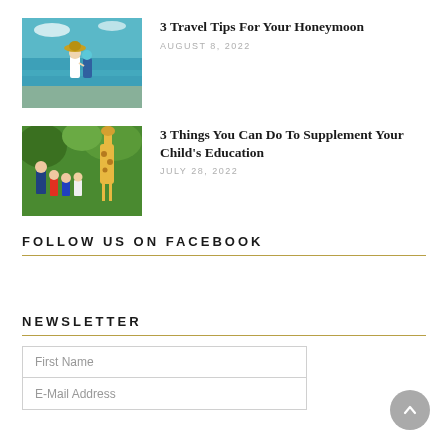[Figure (photo): Couple on a beach with turquoise water, woman wearing a sun hat]
3 Travel Tips For Your Honeymoon
AUGUST 8, 2022
[Figure (photo): Family with children looking at a giraffe at a zoo]
3 Things You Can Do To Supplement Your Child's Education
JULY 28, 2022
FOLLOW US ON FACEBOOK
NEWSLETTER
First Name
E-Mail Address